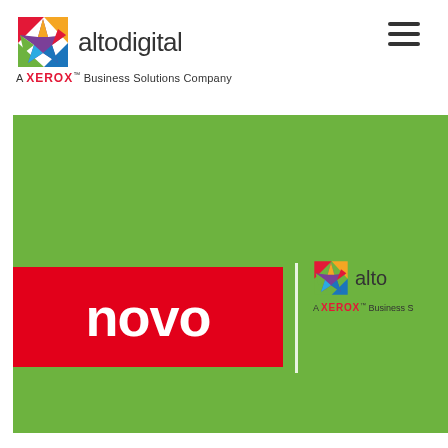[Figure (logo): Altodigital logo with colorful star/burst icon and text 'altodigital', below reads 'A Xerox Business Solutions Company']
[Figure (illustration): Green background promotional image showing Lenovo logo (white text on red rectangle) on the left, a vertical white divider line, and Altodigital logo with 'A Xerox Business Solutions Company' text on the right]